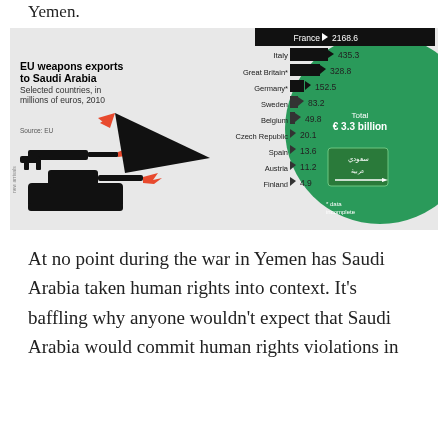Yemen.
[Figure (infographic): Infographic showing EU weapons exports to Saudi Arabia by selected countries in millions of euros, 2010. France 2168.6, Italy 435.3, Great Britain* 328.8, Germany* 152.5, Sweden 83.2, Belgium 49.8, Czech Republic 20.1, Spain 13.6, Austria 11.2, Finland 4.9. Total €3.3 billion. Source: EU. *data incomplete.]
At no point during the war in Yemen has Saudi Arabia taken human rights into context. It's baffling why anyone wouldn't expect that Saudi Arabia would commit human rights violations in